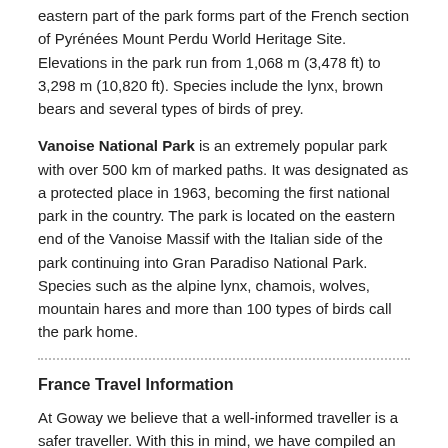eastern part of the park forms part of the French section of Pyrénées Mount Perdu World Heritage Site.  Elevations in the park run from 1,068 m (3,478 ft) to 3,298 m (10,820 ft).  Species include the lynx, brown bears and several types of birds of prey.
Vanoise National Park is an extremely popular park with over 500 km of marked paths.  It was designated as a protected place in 1963, becoming the first national park in the country.  The park is located on the eastern end of the Vanoise Massif with the Italian side of the park continuing into Gran Paradiso National Park.  Species such as the alpine lynx, chamois, wolves, mountain hares and more than 100 types of birds call the park home.
France Travel Information
At Goway we believe that a well-informed traveller is a safer traveller. With this in mind, we have compiled an easy to navigate travel information section dedicated to France.
Learn about the history and culture of France, the must-try food and drink, and what to pack in your suitcase. Read about